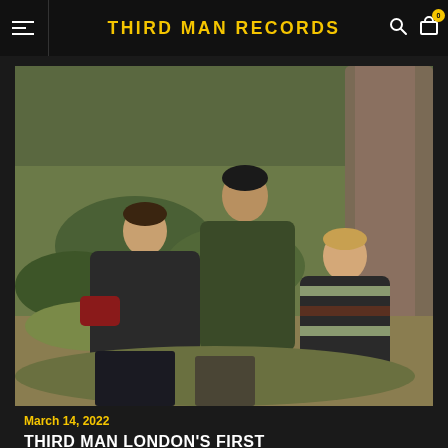THIRD MAN RECORDS
[Figure (photo): Three young band members sitting together outdoors leaning against a tree, surrounded by grass and greenery. The members are wearing casual jackets and sweaters.]
March 14, 2022
THIRD MAN LONDON'S FIRST